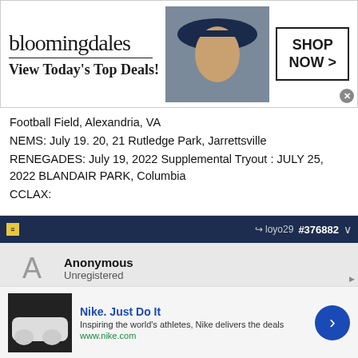[Figure (screenshot): Bloomingdale's advertisement banner with logo, woman in hat photo, 'View Today's Top Deals!' tagline, and 'SHOP NOW >' button]
Football Field, Alexandria, VA
NEMS: July 19. 20, 21 Rutledge Park, Jarrettsville
RENEGADES: July 19, 2022 Supplemental Tryout : JULY 25, 2022 BLANDAIR PARK, Columbia
CCLAX:
loyo29  #376882
Anonymous
Unregistered
CCLAX:
July 13 & 14 (Grad Yr 26-32)
July 19 (Grad Yr 24 & 25)
[Figure (screenshot): Nike 'Just Do It' advertisement with shoe image, tagline 'Inspiring the world's athletes, Nike delivers the deals', www.nike.com URL, and blue arrow button]